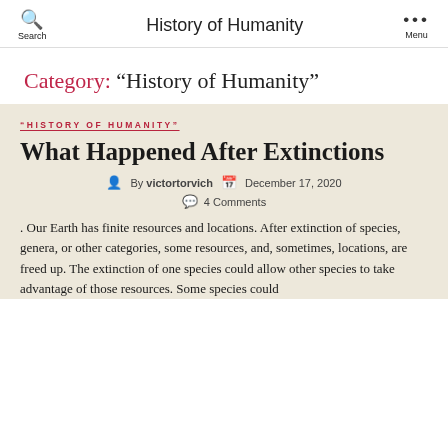Search   History of Humanity   Menu
Category: “History of Humanity”
“HISTORY OF HUMANITY”
What Happened After Extinctions
By victortorvich   December 17, 2020   4 Comments
. Our Earth has finite resources and locations. After extinction of species, genera, or other categories, some resources, and, sometimes, locations, are freed up. The extinction of one species could allow other species to take advantage of those resources. Some species could